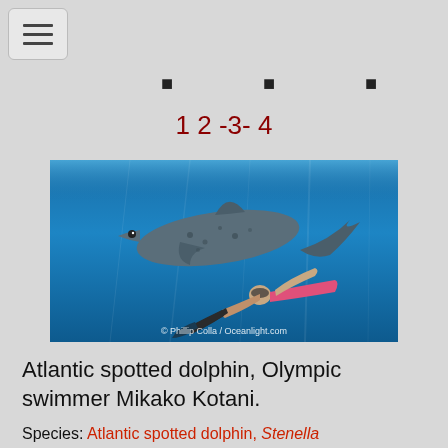[Figure (other): Hamburger menu button icon in top-left corner]
· · ·
1 2 -3- 4
[Figure (photo): Underwater photo of an Atlantic spotted dolphin swimming alongside Olympic swimmer Mikako Kotani in pink swimwear. Watermark reads: © Phillip Colla / Oceanlight.com]
Atlantic spotted dolphin, Olympic swimmer Mikako Kotani.
Species: Atlantic spotted dolphin, Stenella